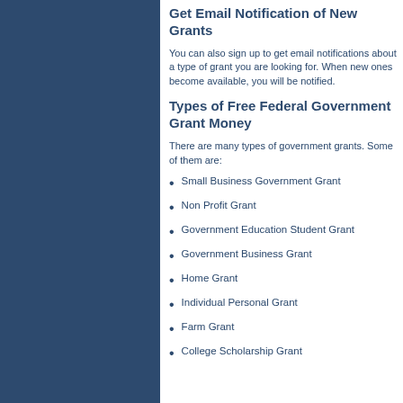Get Email Notification of New Grants
You can also sign up to get email notifications about a type of grant you are looking for. When new ones become available, you will be notified.
Types of Free Federal Government Grant Money
There are many types of government grants. Some of them are:
Small Business Government Grant
Non Profit Grant
Government Education Student Grant
Government Business Grant
Home Grant
Individual Personal Grant
Farm Grant
College Scholarship Grant